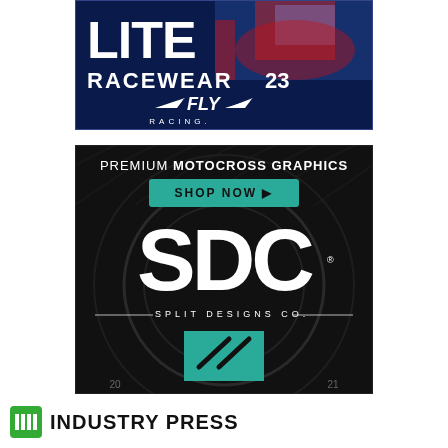[Figure (illustration): Fly Racing Lite Racewear 23 advertisement — dark blue background with motocross action photo, large white text 'LITE RACEWEAR 23' and Fly Racing logo with wings]
[Figure (illustration): SDC Split Designs Co. advertisement — dark carbon-fiber textured background, teal 'SHOP NOW' button, large white 'SDC' text, 'SPLIT DESIGNS CO.' subtitle, teal square with SDC logo mark, page numbers 20 and 21 at bottom corners. Text: 'PREMIUM MOTOCROSS GRAPHICS']
INDUSTRY PRESS